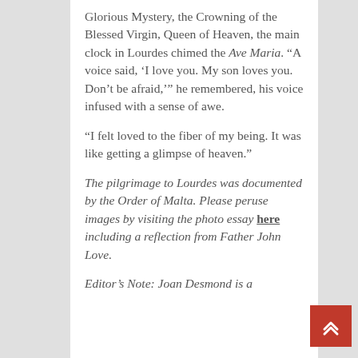Glorious Mystery, the Crowning of the Blessed Virgin, Queen of Heaven, the main clock in Lourdes chimed the Ave Maria. “A voice said, ‘I love you. My son loves you. Don’t be afraid,’” he remembered, his voice infused with a sense of awe.
“I felt loved to the fiber of my being. It was like getting a glimpse of heaven.”
The pilgrimage to Lourdes was documented by the Order of Malta. Please peruse images by visiting the photo essay here including a reflection from Father John Love.
Editor’s Note: Joan Desmond is a member of the Order of Malta and...